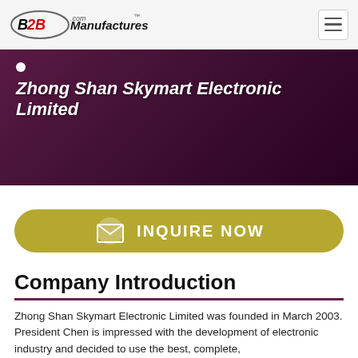B2BManufactures.com
Zhong Shan Skymart Electronic Limited
[Figure (infographic): Inquire Now button with envelope icon, olive/gold color, rounded rectangle]
Company Introduction
Zhong Shan Skymart Electronic Limited was founded in March 2003. President Chen is impressed with the development of electronic industry and decided to use the best, complete,